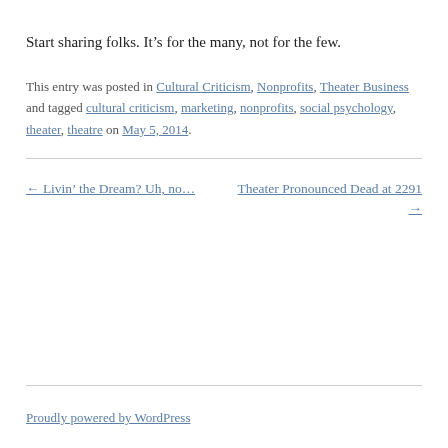Start sharing folks. It’s for the many, not for the few.
This entry was posted in Cultural Criticism, Nonprofits, Theater Business and tagged cultural criticism, marketing, nonprofits, social psychology, theater, theatre on May 5, 2014.
← Livin’ the Dream? Uh, no...
Theater Pronounced Dead at 2291 →
Proudly powered by WordPress